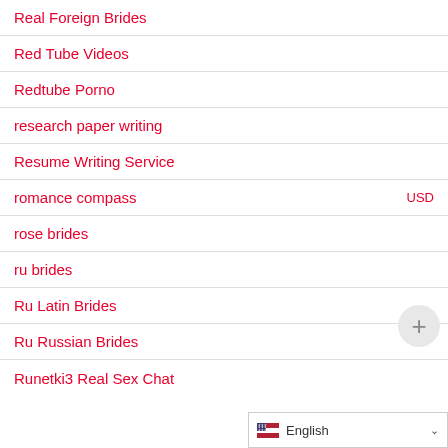Real Foreign Brides
Red Tube Videos
Redtube Porno
research paper writing
Resume Writing Service
romance compass
rose brides
ru brides
Ru Latin Brides
Ru Russian Brides
Runetki3 Real Sex Chat